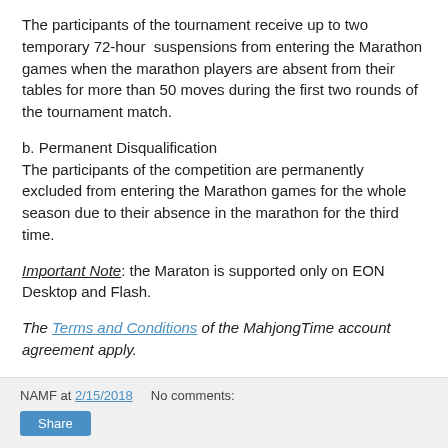The participants of the tournament receive up to two temporary 72-hour suspensions from entering the Marathon games when the marathon players are absent from their tables for more than 50 moves during the first two rounds of the tournament match.
b. Permanent Disqualification
The participants of the competition are permanently excluded from entering the Marathon games for the whole season due to their absence in the marathon for the third time.
Important Note: the Maraton is supported only on EON Desktop and Flash.
The Terms and Conditions of the MahjongTime account agreement apply.
NAMF at 2/15/2018    No comments:   Share